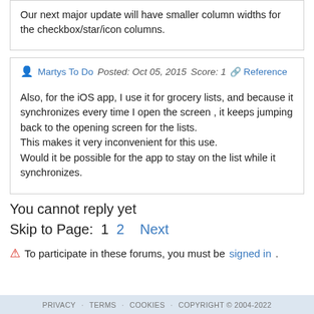Our next major update will have smaller column widths for the checkbox/star/icon columns.
Martys To Do   Posted: Oct 05, 2015   Score: 1   Reference
Also, for the iOS app, I use it for grocery lists, and because it synchronizes every time I open the screen , it keeps jumping back to the opening screen for the lists.
This makes it very inconvenient for this use.
Would it be possible for the app to stay on the list while it synchronizes.
You cannot reply yet
Skip to Page:  1  2  Next
To participate in these forums, you must be signed in.
PRIVACY · TERMS · COOKIES · COPYRIGHT © 2004-2022